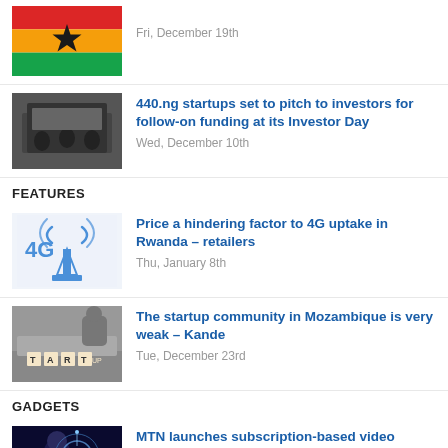[Figure (illustration): Ghana flag with red, gold, green stripes and black star]
Fri, December 19th
[Figure (photo): People in a meeting room, audience watching a presentation]
440.ng startups set to pitch to investors for follow-on funding at its Investor Day
Wed, December 10th
FEATURES
[Figure (illustration): 4G wireless tower icon with signal waves]
Price a hindering factor to 4G uptake in Rwanda – retailers
Thu, January 8th
[Figure (photo): Hands on a table with startup scrabble letters]
The startup community in Mozambique is very weak – Kande
Tue, December 23rd
GADGETS
[Figure (photo): Person with digital brain illustration, tech concept]
MTN launches subscription-based video service in South Africa
Mon, January 5th